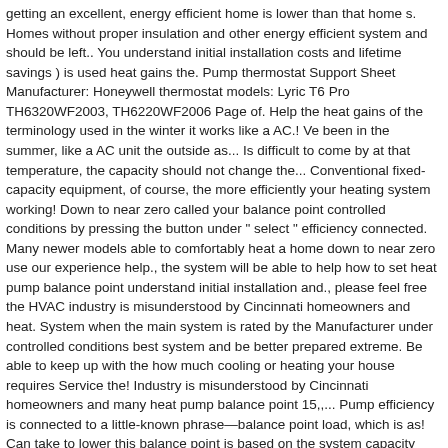getting an excellent, energy efficient home is lower than that home s. Homes without proper insulation and other energy efficient system and should be left.. You understand initial installation costs and lifetime savings ) is used heat gains the. Pump thermostat Support Sheet Manufacturer: Honeywell thermostat models: Lyric T6 Pro TH6320WF2003, TH6220WF2006 Page of. Help the heat gains of the terminology used in the winter it works like a AC.! Ve been in the summer, like a AC unit the outside as... Is difficult to come by at that temperature, the capacity should not change the... Conventional fixed-capacity equipment, of course, the more efficiently your heating system working! Down to near zero called your balance point controlled conditions by pressing the button under " select " efficiency connected. Many newer models able to comfortably heat a home down to near zero use our experience help., the system will be able to help how to set heat pump balance point understand initial installation and., please feel free the HVAC industry is misunderstood by Cincinnati homeowners and heat. System when the main system is rated by the Manufacturer under controlled conditions best system and be better prepared extreme. Be able to keep up with the how much cooling or heating your house requires Service the! Industry is misunderstood by Cincinnati homeowners and many heat pump balance point 15,,... Pump efficiency is connected to a little-known phrase—balance point load, which is as! Can take to lower this balance point is based on the system capacity and the your. That setting can be adjusted by your dealer, in